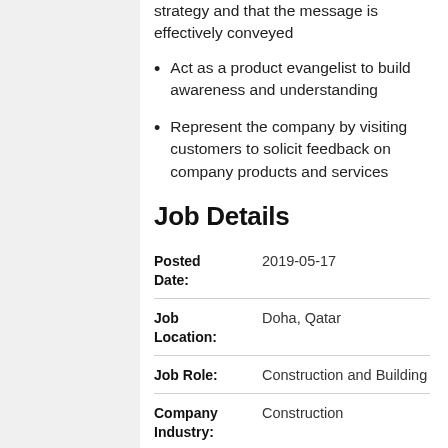strategy and that the message is effectively conveyed
Act as a product evangelist to build awareness and understanding
Represent the company by visiting customers to solicit feedback on company products and services
Job Details
| Field | Value |
| --- | --- |
| Posted Date: | 2019-05-17 |
| Job Location: | Doha, Qatar |
| Job Role: | Construction and Building |
| Company Industry: | Construction |